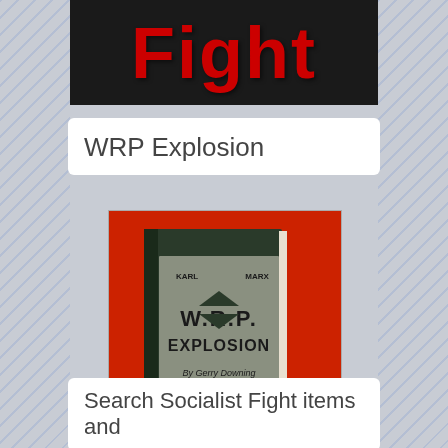[Figure (screenshot): Dark banner with red bold text reading 'Fight']
WRP Explosion
[Figure (illustration): Book cover of 'WRP Explosion' by Gerry Downing on a red background, with text 'Click For Free Download' below]
Search Socialist Fight items and